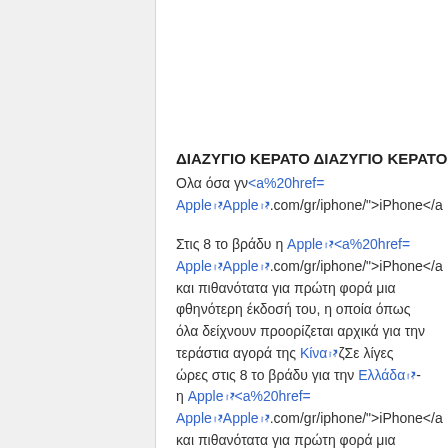ΔΙΑΖΥΓΙΟ ΚΕΡΑΤΟ ΔΙΑΖΥΓΙΟ ΚΕΡΑΤΟ
Ολα όσα γν<a%20href= Apple Apple .com/gr/iphone/">iPhone</a
Στις 8 το βράδυ η Apple <a%20href= Apple Apple .com/gr/iphone/">iPhone</a και πιθανότατα για πρώτη φορά μια φθηνότερη έκδοσή του, η οποία όπως όλα δείχνουν προορίζεται αρχικά για την τεράστια αγορά της Κίνα ζΣε λίγες ώρες στις 8 το βράδυ για την Ελλάδα- η Apple <a%20href= Apple Apple .com/gr/iphone/">iPhone</a και πιθανότατα για πρώτη φορά μια